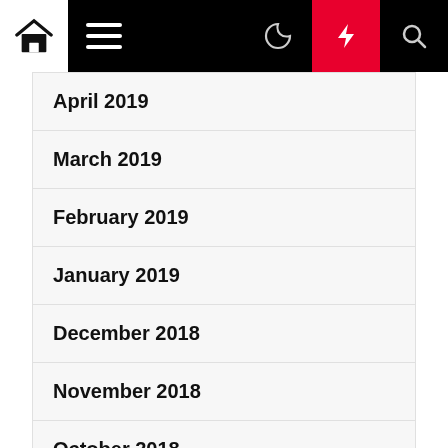Navigation bar with home, menu, moon, flash, and search icons
April 2019
March 2019
February 2019
January 2019
December 2018
November 2018
October 2018
Categories
Aging Well